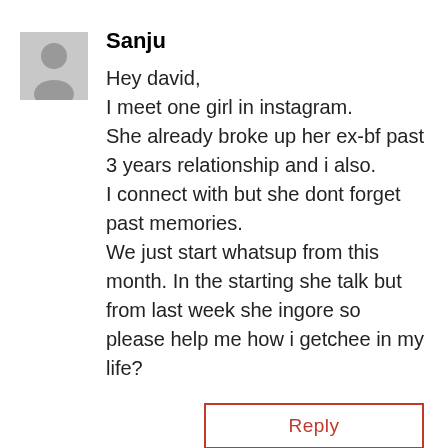[Figure (illustration): Gray placeholder avatar icon of a person silhouette]
Sanju
Hey david,
I meet one girl in instagram.
She already broke up her ex-bf past 3 years relationship and i also.
I connect with but she dont forget past memories.
We just start whatsup from this month. In the starting she talk but from last week she ingore so please help me how i getchee in my life?
Reply